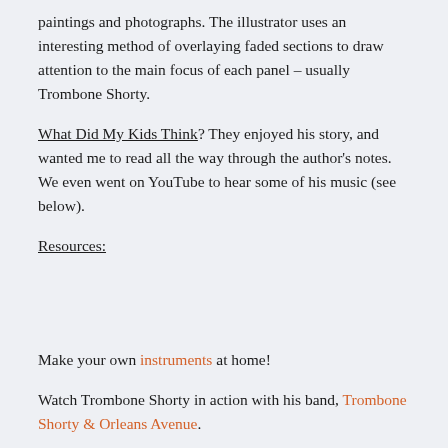paintings and photographs. The illustrator uses an interesting method of overlaying faded sections to draw attention to the main focus of each panel – usually Trombone Shorty.
What Did My Kids Think? They enjoyed his story, and wanted me to read all the way through the author's notes. We even went on YouTube to hear some of his music (see below).
Resources:
Make your own instruments at home!
Watch Trombone Shorty in action with his band, Trombone Shorty & Orleans Avenue.
Learn more about the Trombone Shorty Foundation, and its work to promote music to the next generation, especially